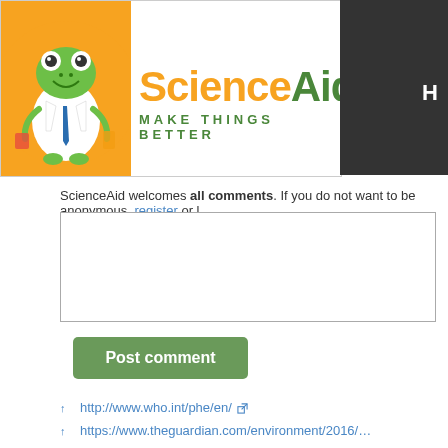[Figure (logo): ScienceAid logo with frog mascot holding beakers, text 'ScienceAid MAKE THINGS BETTER' in orange and green]
ScienceAid welcomes all comments. If you do not want to be anonymous, register or l…
↑ http://www.who.int/phe/en/
↑ https://www.theguardian.com/environment/2016/…rate-in-worlds-cities
↑ https://www.theguardian.com/environment/2016/…rate-in-worlds-cities
↑ http://www.scpr.org/news/2017/03/02/69496/smo…rise-in/